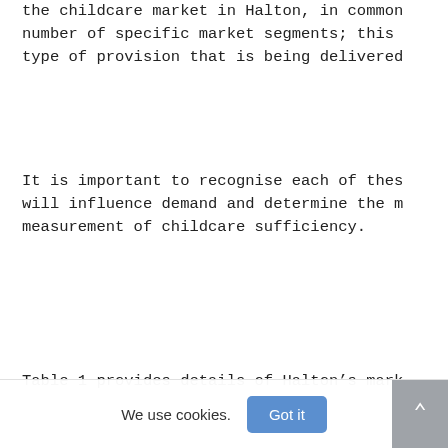the childcare market in Halton, in common with a number of specific market segments; this relates to the type of provision that is being delivered
It is important to recognise each of these factors will influence demand and determine the most appropriate measurement of childcare sufficiency.
Table 1 provides details of Halton's market areas
| Market Segment | T Market |
| --- | --- |
|  | Sup Nur |
|  | Day |
We use cookies.